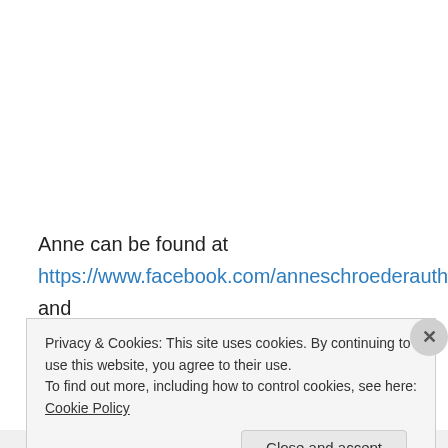Anne can be found at https://www.facebook.com/anneschroederauthor and http://anneschroederauthor.blogspot.com/
Privacy & Cookies: This site uses cookies. By continuing to use this website, you agree to their use. To find out more, including how to control cookies, see here: Cookie Policy
Close and accept